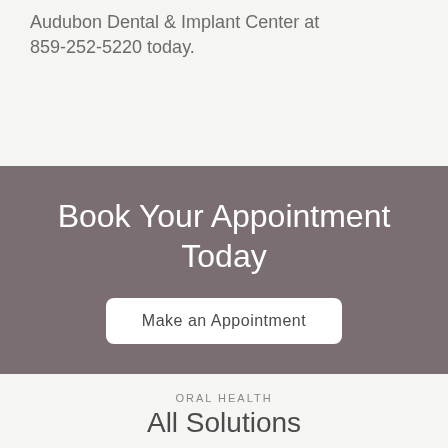Audubon Dental & Implant Center at 859-252-5220 today.
Book Your Appointment Today
Make an Appointment
ORAL HEALTH
All Solutions